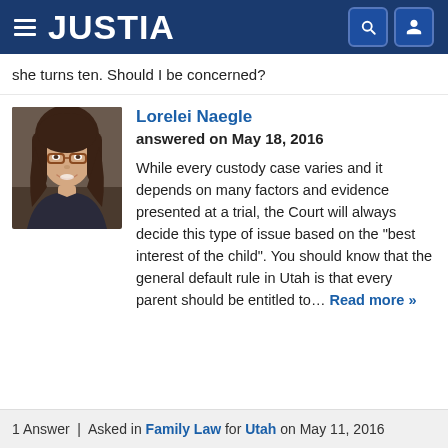JUSTIA
she turns ten. Should I be concerned?
Lorelei Naegle
answered on May 18, 2016

While every custody case varies and it depends on many factors and evidence presented at a trial, the Court will always decide this type of issue based on the "best interest of the child". You should know that the general default rule in Utah is that every parent should be entitled to... Read more »
1 Answer | Asked in Family Law for Utah on May 11, 2016